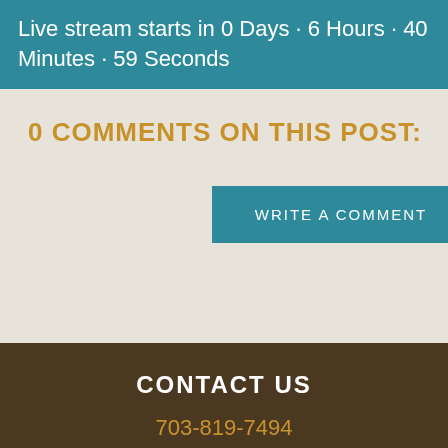Live stream starts in 0 Days · 6 Hours · 40 Minutes · 59 Seconds
0 COMMENTS ON THIS POST:
WRITE A COMMENT
CONTACT US
703-819-7494
[Figure (other): Social media icons bar: Facebook (f), Twitter (bird icon), Email (envelope icon)]